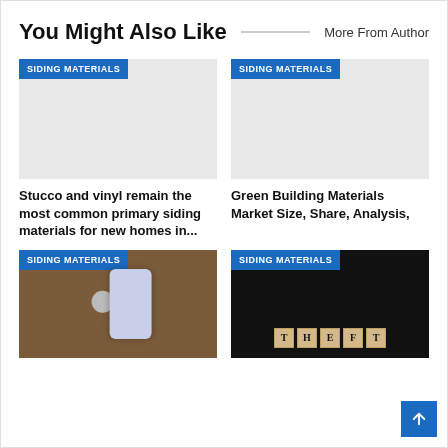You Might Also Like
More From Author
[Figure (photo): Placeholder image with SIDING MATERIALS badge]
[Figure (photo): Placeholder image with SIDING MATERIALS badge]
Stucco and vinyl remain the most common primary siding materials for new homes in...
Green Building Materials Market Size, Share, Analysis,
[Figure (photo): Phone on wooden surface with SIDING MATERIALS badge]
[Figure (photo): Black gloved hand over THEFT tiles with SIDING MATERIALS badge]